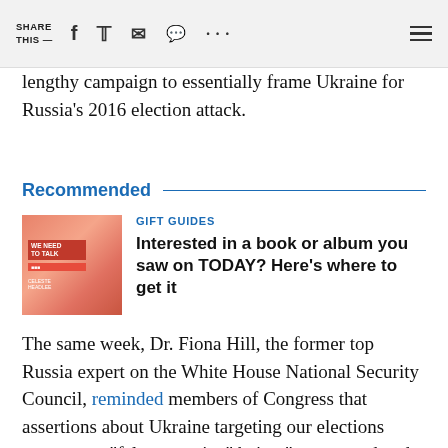SHARE THIS —  [social icons]
lengthy campaign to essentially frame Ukraine for Russia's 2016 election attack.
Recommended
[Figure (photo): Book cover image - pink/red colored book covers]
GIFT GUIDES
Interested in a book or album you saw on TODAY? Here's where to get it
The same week, Dr. Fiona Hill, the former top Russia expert on the White House National Security Council, reminded members of Congress that assertions about Ukraine targeting our elections represent a "false narrative" being "perpetrated and propagated by the Russian security services."